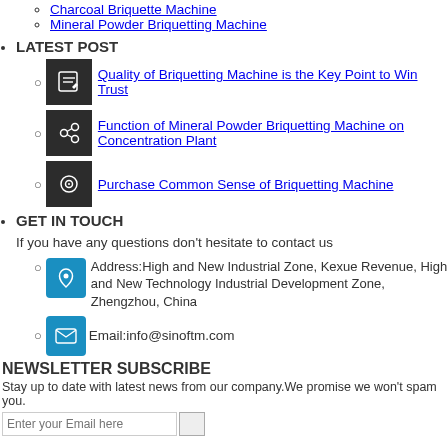Charcoal Briquette Machine
Mineral Powder Briquetting Machine
LATEST POST
Quality of Briquetting Machine is the Key Point to Win Trust
Function of Mineral Powder Briquetting Machine on Concentration Plant
Purchase Common Sense of Briquetting Machine
GET IN TOUCH
If you have any questions don't hesitate to contact us
Address:High and New Industrial Zone, Kexue Revenue, High and New Technology Industrial Development Zone, Zhengzhou, China
Email:info@sinoftm.com
NEWSLETTER SUBSCRIBE
Stay up to date with latest news from our company.We promise we won't spam you.